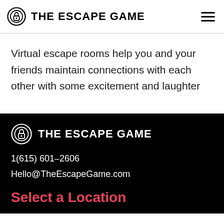THE ESCAPE GAME
Virtual escape rooms help you and your friends maintain connections with each other with some excitement and laughter
[Figure (logo): The Escape Game logo with lock icon and text on black background]
1(615) 601-2606
Hello@TheEscapeGame.com
Select a Location